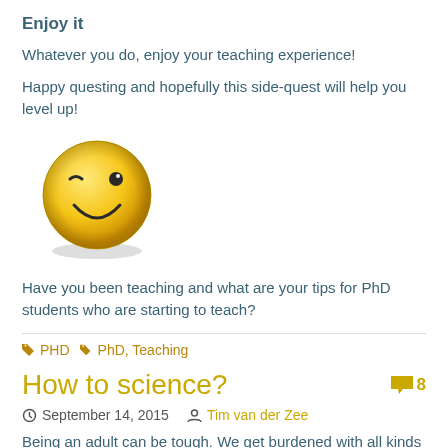Enjoy it
Whatever you do, enjoy your teaching experience!
Happy questing and hopefully this side-quest will help you level up!
[Figure (illustration): Yellow winking smiley face emoji]
Have you been teaching and what are your tips for PhD students who are starting to teach?
PHD   PhD, Teaching
How to science?
September 14, 2015   Tim van der Zee
Being an adult can be tough. We get burdened with all kinds